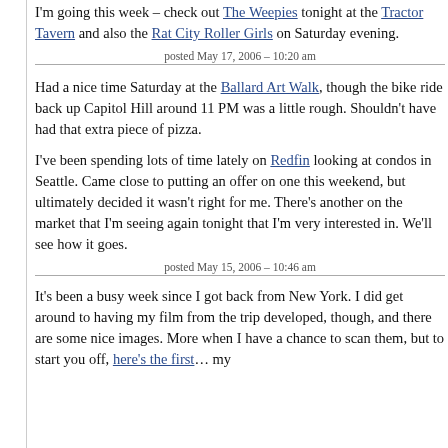I'm going this week - check out The Weepies tonight at the Tractor Tavern and also the Rat City Roller Girls on Saturday evening.
posted May 17, 2006 – 10:20 am
Had a nice time Saturday at the Ballard Art Walk, though the bike ride back up Capitol Hill around 11 PM was a little rough. Shouldn't have had that extra piece of pizza.
I've been spending lots of time lately on Redfin looking at condos in Seattle. Came close to putting an offer on one this weekend, but ultimately decided it wasn't right for me. There's another on the market that I'm seeing again tonight that I'm very interested in. We'll see how it goes.
posted May 15, 2006 – 10:46 am
It's been a busy week since I got back from New York. I did get around to having my film from the trip developed, though, and there are some nice images. More when I have a chance to scan them, but to start you off, here's the first… my